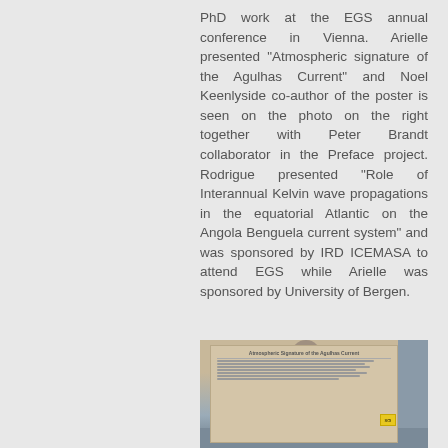PhD work at the EGS annual conference in Vienna. Arielle presented "Atmospheric signature of the Agulhas Current" and Noel Keenlyside co-author of the poster is seen on the photo on the right together with Peter Brandt collaborator in the Preface project. Rodrigue presented "Role of Interannual Kelvin wave propagations in the equatorial Atlantic on the Angola Benguela current system" and was sponsored by IRD ICEMASA to attend EGS while Arielle was sponsored by University of Bergen.
[Figure (photo): A conference poster display showing 'Atmospheric Signature of the Agulhas Current' poster at the EGS annual conference in Vienna, with exhibition hall background.]